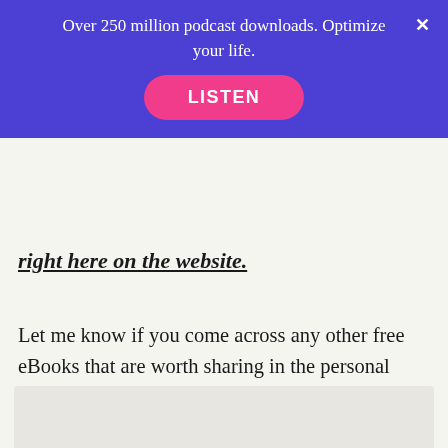Over 250 million podcast downloads. Optimize your life. LISTEN
right here on the website.
Let me know if you come across any other free eBooks that are worth sharing in the personal development niche, or if there are any other authors (besides the authors we already narrate) that we should look into!
[Figure (photo): Partial bottom image, appears to be a person or avatar, mostly cropped out at bottom of page]